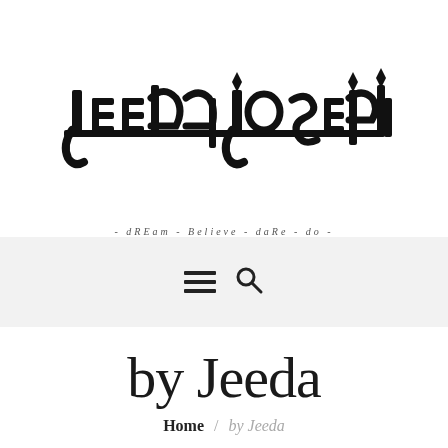[Figure (logo): Jeeda Joseph stylized Arabic-style logo with decorative letterforms]
- dREam - Believe - daRe - do -
[Figure (other): Navigation bar with hamburger menu icon and search icon on light grey background]
by Jeeda
Home / by Jeeda